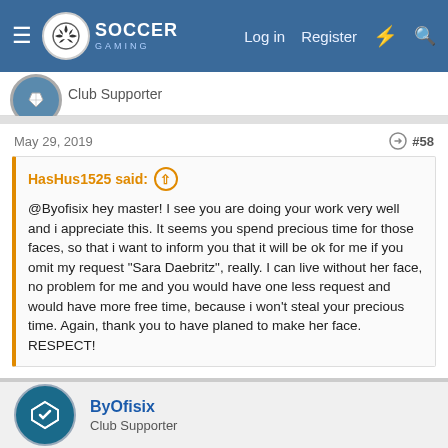Soccer Gaming — Log in | Register
Club Supporter
May 29, 2019  #58
HasHus1525 said: ↑
@Byofisix hey master! I see you are doing your work very well and i appreciate this. It seems you spend precious time for those faces, so that i want to inform you that it will be ok for me if you omit my request "Sara Daebritz", really. I can live without her face, no problem for me and you would have one less request and would have more free time, because i won't steal your precious time. Again, thank you to have planed to make her face. RESPECT!
Thanks so much but I'll do Sara face next and Jovic face 😀
HasHus1525
ByOfisix
Club Supporter